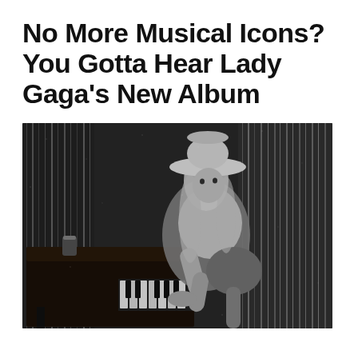No More Musical Icons? You Gotta Hear Lady Gaga's New Album
[Figure (photo): Black and white photo of Lady Gaga wearing a white cowboy hat and white top, leaning over a piano keyboard in a dark venue with glittery curtain backdrop]